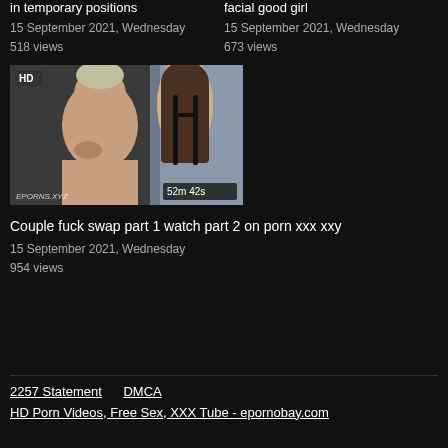in temporary positions
15 September 2021, Wednesday
518 views
facial good girl
15 September 2021, Wednesday
673 views
[Figure (photo): Video thumbnail showing a couple, HD badge top left, duration 52m 42s bottom right, watermark bottom left]
Couple fuck swap part 1 watch part 2 on porn xxx xxy
15 September 2021, Wednesday
954 views
2257 Statement   DMCA
HD Porn Videos, Free Sex, XXX Tube - epornobay.com